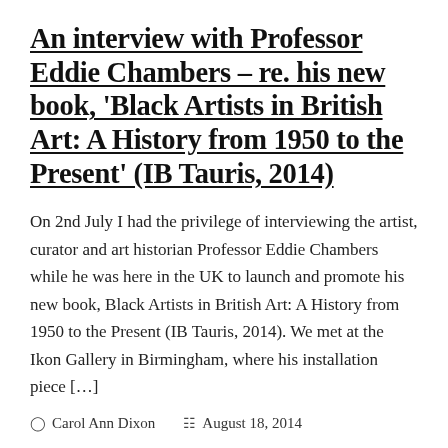An interview with Professor Eddie Chambers – re. his new book, 'Black Artists in British Art: A History from 1950 to the Present' (IB Tauris, 2014)
On 2nd July I had the privilege of interviewing the artist, curator and art historian Professor Eddie Chambers while he was here in the UK to launch and promote his new book, Black Artists in British Art: A History from 1950 to the Present (IB Tauris, 2014). We met at the Ikon Gallery in Birmingham, where his installation piece […]
Carol Ann Dixon   August 18, 2014